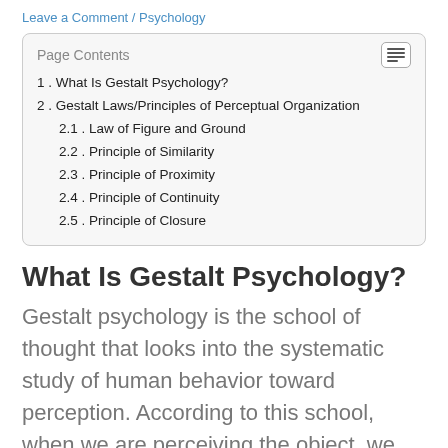Leave a Comment / Psychology
| 1. What Is Gestalt Psychology? |
| 2. Gestalt Laws/Principles of Perceptual Organization |
| 2.1. Law of Figure and Ground |
| 2.2. Principle of Similarity |
| 2.3. Principle of Proximity |
| 2.4. Principle of Continuity |
| 2.5. Principle of Closure |
What Is Gestalt Psychology?
Gestalt psychology is the school of thought that looks into the systematic study of human behavior toward perception. According to this school, when we are perceiving the object, we perceive